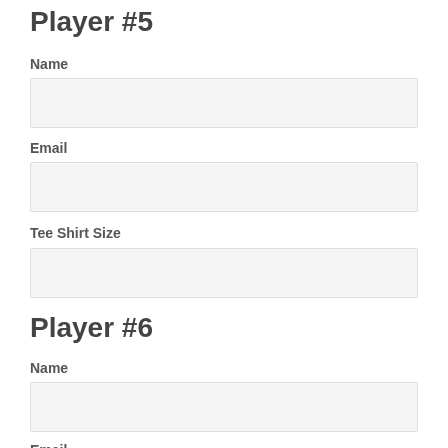Player #5
Name
Email
Tee Shirt Size
Player #6
Name
Email